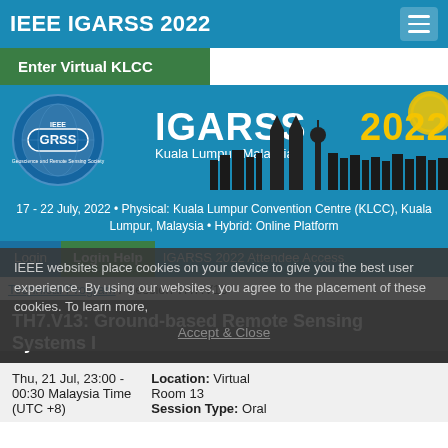IEEE IGARSS 2022
Enter Virtual KLCC
[Figure (illustration): IGARSS 2022 banner with GRSS logo, IGARSS 2022 text, Kuala Lumpur Malaysia text, and Kuala Lumpur skyline silhouette]
17 - 22 July, 2022 • Physical: Kuala Lumpur Convention Centre (KLCC), Kuala Lumpur, Malaysia • Hybrid: Online Platform
Login   Login Help   IGARSS 2022 Attendee Access
Technical Program / Session TH7.V13
TH7.V13: Ground-based Remote Sensing Systems I
IEEE websites place cookies on your device to give you the best user experience. By using our websites, you agree to the placement of these cookies. To learn more,
Accept & Close
Thu, 21 Jul, 23:00 - 00:30 Malaysia Time (UTC +8)
Location: Virtual Room 13
Session Type: Oral